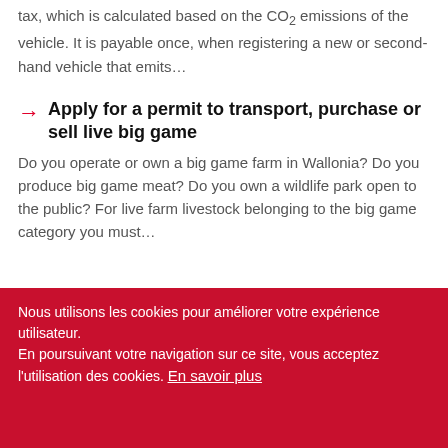tax, which is calculated based on the CO2 emissions of the vehicle. It is payable once, when registering a new or second-hand vehicle that emits…
Apply for a permit to transport, purchase or sell live big game
Do you operate or own a big game farm in Wallonia? Do you produce big game meat? Do you own a wildlife park open to the public? For live farm livestock belonging to the big game category you must…
Nous utilisons les cookies pour améliorer votre expérience utilisateur.
En poursuivant votre navigation sur ce site, vous acceptez l'utilisation des cookies. En savoir plus